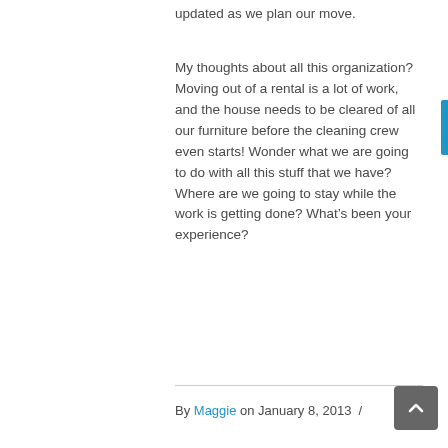updated as we plan our move.
My thoughts about all this organization?  Moving out of a rental is a lot of work, and the house needs to be cleared of all our furniture before the cleaning crew even starts! Wonder what we are going to do with all this stuff that we have? Where are we going to stay while the work is getting done? What’s been your experience?
By Maggie on January 8, 2013  /